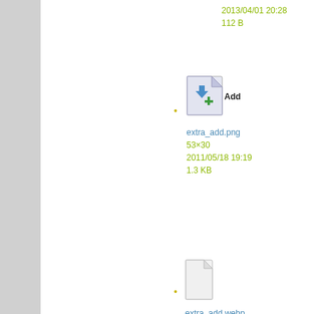2013/04/01 20:28
112 B
[Figure (screenshot): File icon for extra_add.png showing a document with a blue down arrow and green plus sign, labeled 'Add']
extra_add.png
53×30
2011/05/18 19:19
1.3 KB
[Figure (screenshot): Generic blank file icon for extra_add.webp]
extra_add.webp
2013/04/01 20:28
This website uses cookies to ensure you get the best experience on our website.
Learn more
Decline
Allow cookies